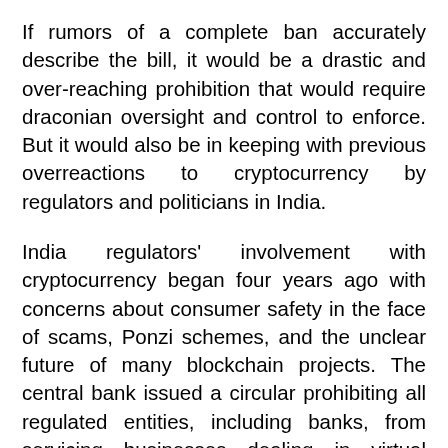If rumors of a complete ban accurately describe the bill, it would be a drastic and over-reaching prohibition that would require draconian oversight and control to enforce. But it would also be in keeping with previous overreactions to cryptocurrency by regulators and politicians in India.
India regulators' involvement with cryptocurrency began four years ago with concerns about consumer safety in the face of scams, Ponzi schemes, and the unclear future of many blockchain projects. The central bank issued a circular prohibiting all regulated entities, including banks, from servicing businesses dealing in virtual currencies. Nearly two years later, the ban was overturned by the Indian Supreme Court on the ground that it amounted to disproportionate regulatory action in the absence of evidence of harm caused to the regulated entities. A subsequent report in 2019 by the Finance Ministry proposed a draft bill that would have led to a broad ban on